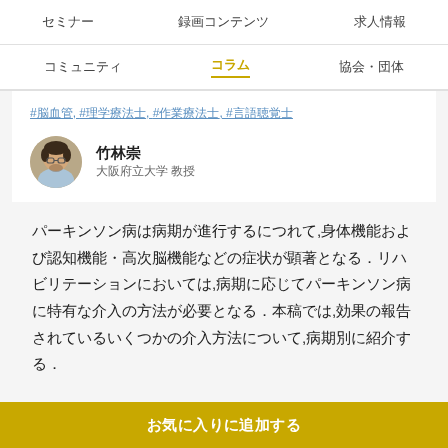セミナー　録画コンテンツ　求人情報
コミュニティ　コラム　協会・団体
#脳血管, #理学療法士, #作業療法士, #言語聴覚士
竹林崇
大阪府立大学 教授
パーキンソン病は病期が進行するにつれて,身体機能および認知機能・高次脳機能などの症状が顕著となる．リハビリテーションにおいては,病期に応じてパーキンソン病に特有な介入の方法が必要となる．本稿では,効果の報告されているいくつかの介入方法について,病期別に紹介する．
お気に入りに追加する